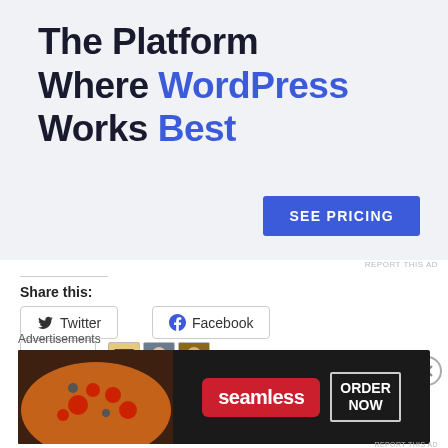[Figure (screenshot): Advertisement banner: 'The Platform Where WordPress Works Best' with a blue 'SEE PRICING' button]
REPORT THIS AD
Share this:
[Figure (other): Twitter share button]
[Figure (other): Facebook share button]
[Figure (other): Like button with star, and 3 blogger avatars]
3 bloggers like this.
Advertisements
[Figure (screenshot): Seamless food delivery advertisement showing pizza with 'seamless' branding and 'ORDER NOW' button]